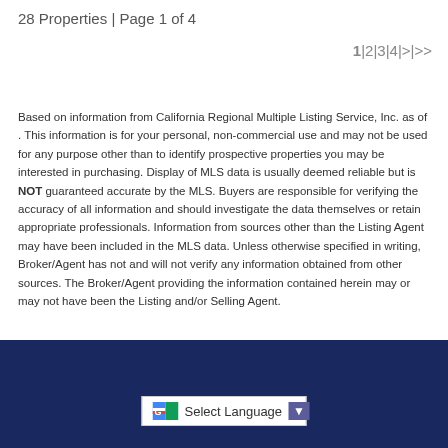28 Properties | Page 1 of 4
1|2|3|4|>|>>
Based on information from California Regional Multiple Listing Service, Inc. as of . This information is for your personal, non-commercial use and may not be used for any purpose other than to identify prospective properties you may be interested in purchasing. Display of MLS data is usually deemed reliable but is NOT guaranteed accurate by the MLS. Buyers are responsible for verifying the accuracy of all information and should investigate the data themselves or retain appropriate professionals. Information from sources other than the Listing Agent may have been included in the MLS data. Unless otherwise specified in writing, Broker/Agent has not and will not verify any information obtained from other sources. The Broker/Agent providing the information contained herein may or may not have been the Listing and/or Selling Agent.
[Figure (screenshot): Footer bar with dark navy background and a Google Translate 'Select Language' dropdown selector with a dropdown arrow button]